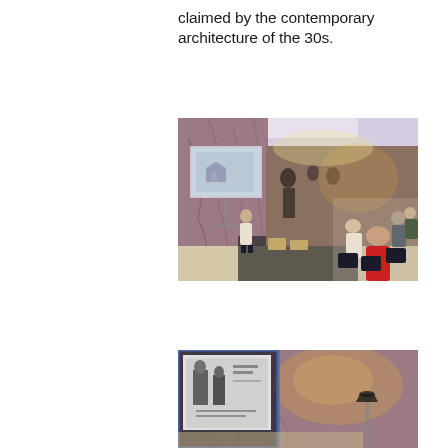claimed by the contemporary architecture of the 30s.
[Figure (photo): A lecturer presenting to an audience in an ornate room with marble walls and a large mural painting. The speaker stands near a projection screen on the left, while attendees sit in chairs on the right. A woman in a red jacket is prominent in the foreground.]
[Figure (photo): Close-up partial view of a presentation screen showing black and white images, with marble wall and a lamp stand visible in the background.]